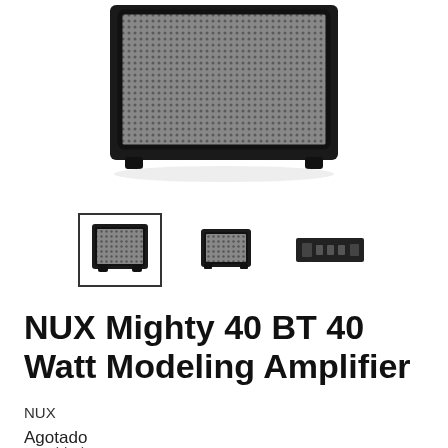[Figure (photo): Main product photo of NUX Mighty 40 BT guitar amplifier, showing the front face with gray speaker grille and black body, cropped at the top so the bottom feet are visible.]
[Figure (photo): Three thumbnail images of the NUX Mighty 40 BT amplifier: first (selected, with border) shows front view, second shows side/angle view, third shows rear panel view.]
NUX Mighty 40 BT 40 Watt Modeling Amplifier
NUX
Agotado
Cantidad